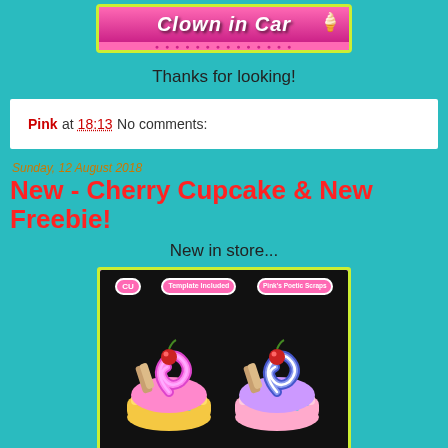[Figure (illustration): Blog banner logo showing 'Clown in Car' text on pink background with yellow-green border]
Thanks for looking!
Pink at 18:13    No comments:
Sunday, 12 August 2018
New - Cherry Cupcake & New Freebie!
New in store...
[Figure (illustration): Two decorative cherry cupcakes on pink background with badges reading CU, Template Included, Pink's Poetic Scraps]